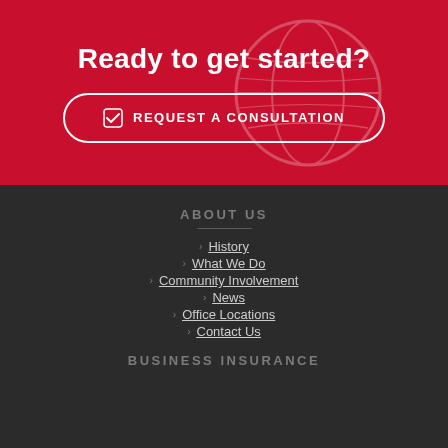Ready to get started?
REQUEST A CONSULTATION
ABOUT US
History
What We Do
Community Involvement
News
Office Locations
Contact Us
BUSINESS INSURANCE